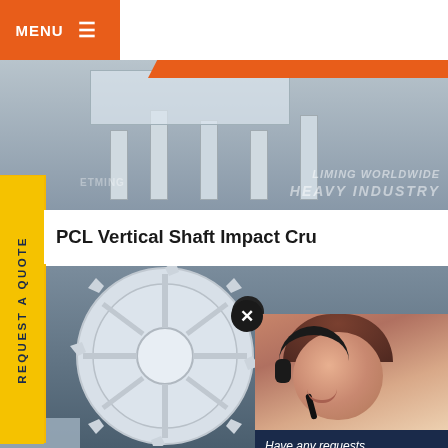[Figure (screenshot): Website screenshot of an industrial equipment company (Liming Heavy Industry) showing navigation bar with MENU button and social icons (f, t, Be, pinterest, youtube), orange diagonal banner in top right corner, and hero machinery photo background]
[Figure (photo): Industrial machinery/equipment photo showing PCL vertical shaft impact crusher components, large white gear/flywheel visible in foreground, factory interior background]
PCL Vertical Shaft Impact Cru
[Figure (photo): Customer service agent - smiling woman with headset/microphone, chat popup panel overlay]
Have any requests, click here.
Quota
Enquiry
drobilkalm
REQUEST A QUOTE